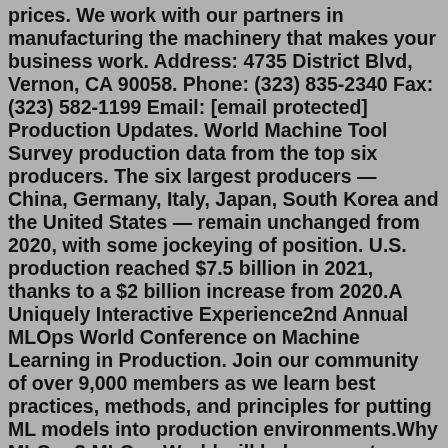prices. We work with our partners in manufacturing the machinery that makes your business work. Address: 4735 District Blvd, Vernon, CA 90058. Phone: (323) 835-2340 Fax: (323) 582-1199 Email: [email protected] Production Updates. World Machine Tool Survey production data from the top six producers. The six largest producers — China, Germany, Italy, Japan, South Korea and the United States — remain unchanged from 2020, with some jockeying of position. U.S. production reached $7.5 billion in 2021, thanks to a $2 billion increase from 2020.A Uniquely Interactive Experience2nd Annual MLOps World Conference on Machine Learning in Production. Join our community of over 9,000 members as we learn best practices, methods, and principles for putting ML models into production environments.Why MLOps? MLOps World will help you put machine learning models into production environments; responsibly, effectively, and efficiently. We'll be ... Spin and have fun at anytime and anywhere with the best FREE SLOTS app! 🎰🎰🎰.